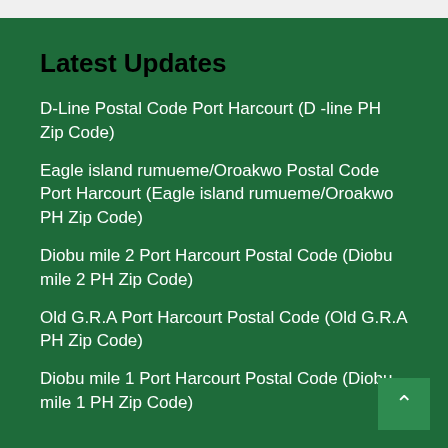Latest Updates
D-Line Postal Code Port Harcourt (D -line PH Zip Code)
Eagle island rumueme/Oroakwo Postal Code Port Harcourt (Eagle island rumueme/Oroakwo PH Zip Code)
Diobu mile 2 Port Harcourt Postal Code (Diobu mile 2 PH Zip Code)
Old G.R.A Port Harcourt Postal Code (Old G.R.A PH Zip Code)
Diobu mile 1 Port Harcourt Postal Code (Diobu mile 1 PH Zip Code)